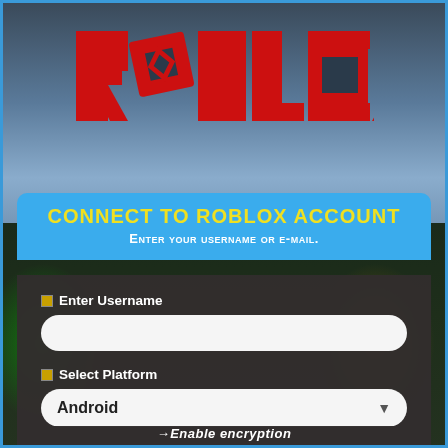[Figure (logo): Roblox logo in red block letters with tilted O letter]
CONNECT TO ROBLOX ACCOUNT
Enter your username or e-mail.
□ Enter Username
□ Select Platform
Android
→Enable encryption